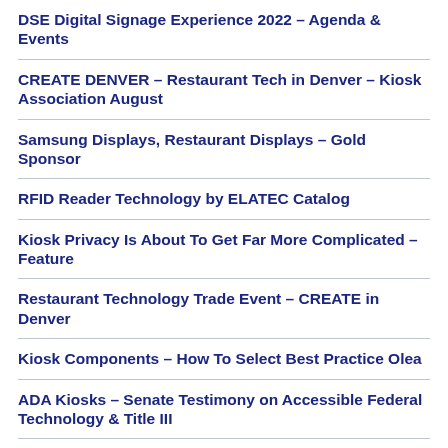DSE Digital Signage Experience 2022 – Agenda & Events
CREATE DENVER – Restaurant Tech in Denver – Kiosk Association August
Samsung Displays, Restaurant Displays – Gold Sponsor
RFID Reader Technology by ELATEC Catalog
Kiosk Privacy Is About To Get Far More Complicated – Feature
Restaurant Technology Trade Event – CREATE in Denver
Kiosk Components – How To Select Best Practice Olea
ADA Kiosks – Senate Testimony on Accessible Federal Technology & Title III
ADA Kiosks – Telehealth Acccessibility Guidelines HHS and DOJ
OS Neutral Payment Devices for OS Agnostic Payment Kiosks
Automated Cocktail Machine Tended Bar Coming to Denver